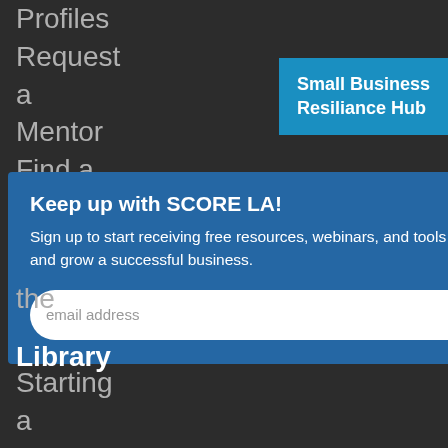Profiles
Request a Mentor
Find a location
[Figure (screenshot): Blue highlighted button in top right reading 'Small Business Resiliance Hub']
Keep up with SCORE LA!
Sign up to start receiving free resources, webinars, and tools to help you start and grow a successful business.
email address [input field] SUBMIT [button]
the
Library
Starting a